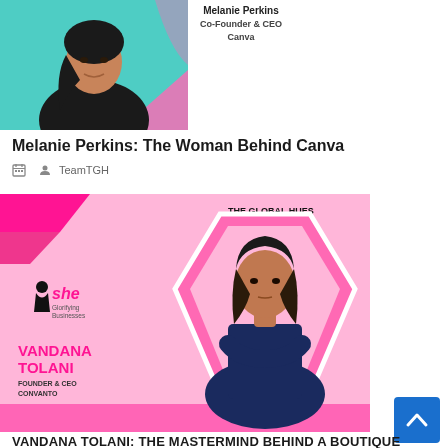[Figure (photo): Photo of Melanie Perkins with teal/pink background, woman in black top with dark hair. Label: Co-Founder & CEO Canva]
Melanie Perkins: The Woman Behind Canva
TeamTGH
[Figure (photo): Promotional card for Vandana Tolani, Founder & CEO Convanto, from The Global Hues. She Glorifying Businesses logo. Pink hexagonal frame with photo of woman in navy top.]
VANDANA TOLANI: THE MASTERMIND BEHIND A BOUTIQUE